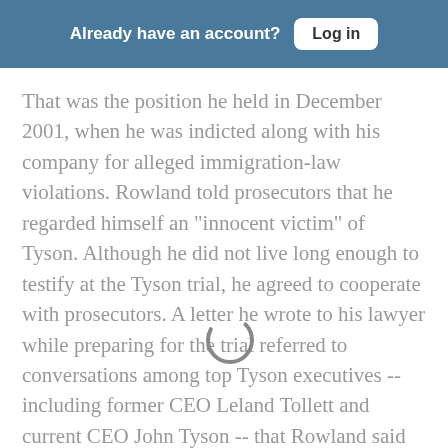Already have an account? Log in
That was the position he held in December 2001, when he was indicted along with his company for alleged immigration-law violations. Rowland told prosecutors that he regarded himself an "innocent victim" of Tyson. Although he did not live long enough to testify at the Tyson trial, he agreed to cooperate with prosecutors. A letter he wrote to his lawyer while preparing for the trial referred to conversations among top Tyson executives -- including former CEO Leland Tollett and current CEO John Tyson -- that Rowland said he overhead during their visits to the Shelbyville plant between 1995 and 1998.
Rowland was careful to write that he did not hear